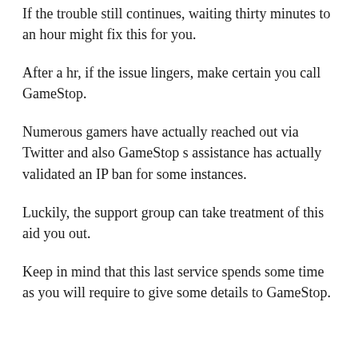If the trouble still continues, waiting thirty minutes to an hour might fix this for you.
After a hr, if the issue lingers, make certain you call GameStop.
Numerous gamers have actually reached out via Twitter and also GameStop s assistance has actually validated an IP ban for some instances.
Luckily, the support group can take treatment of this aid you out.
Keep in mind that this last service spends some time as you will require to give some details to GameStop.